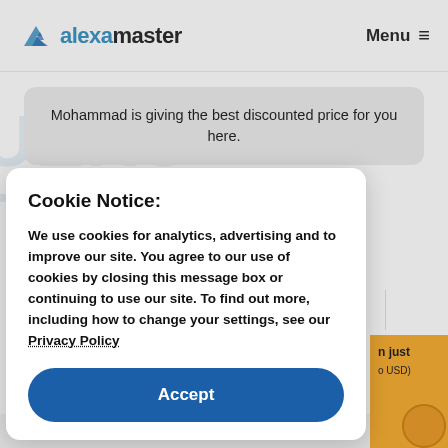alexamaster | Menu
Mohammad is giving the best discounted price for you here.
Add To Cart
Cookie Notice:
We use cookies for analytics, advertising and to improve our site. You agree to our use of cookies by closing this message box or continuing to use our site. To find out more, including how to change your settings, see our Privacy Policy
Accept
Please read this page carefully be